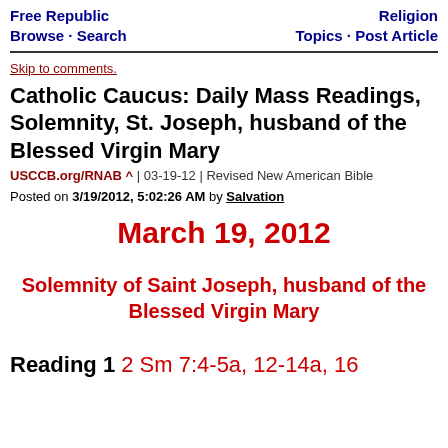Free Republic Browse · Search | Religion Topics · Post Article
Skip to comments.
Catholic Caucus: Daily Mass Readings, Solemnity, St. Joseph, husband of the Blessed Virgin Mary
USCCB.org/RNAB ^ | 03-19-12 | Revised New American Bible
Posted on 3/19/2012, 5:02:26 AM by Salvation
March 19, 2012
Solemnity of Saint Joseph, husband of the Blessed Virgin Mary
Reading 1 2 Sm 7:4-5a, 12-14a, 16